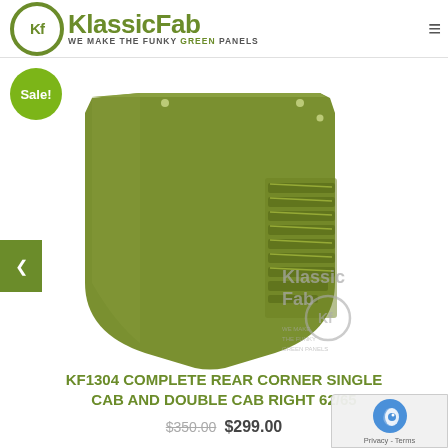KlassicFab — WE MAKE THE FUNKY GREEN PANELS
[Figure (photo): Green metal rear corner panel for VW single/double cab, shown at an angle with louvered vents on the right side. KlassicFab watermark logo in lower right of image. Sale badge in upper left.]
KF1304 COMPLETE REAR CORNER SINGLE CAB AND DOUBLE CAB RIGHT 62/65
$350.00 $299.00